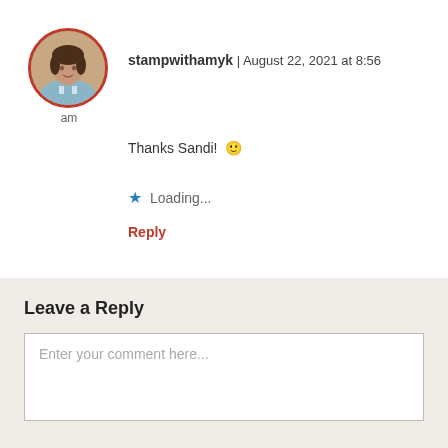[Figure (photo): Circular avatar photo of a person with a red circular border, with label 'am' below]
stampwithamyk | August 22, 2021 at 8:56 am
Thanks Sandi! 🙂
★ Loading...
Reply
Leave a Reply
Enter your comment here...